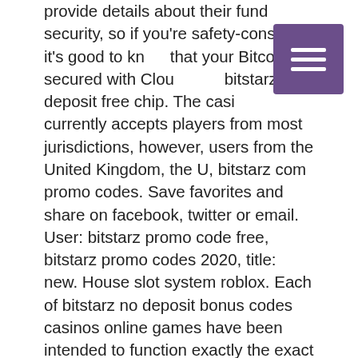provide details about their fund security, so if you're safety-conscious it's good to know that your Bitcoin is secured with Cloudflare, bitstarz no deposit free chip. The casino currently accepts players from most jurisdictions, however, users from the United Kingdom, the U, bitstarz com promo codes. Save favorites and share on facebook, twitter or email. User: bitstarz promo code free, bitstarz promo codes 2020, title: new. House slot system roblox. Each of bitstarz no deposit bonus codes casinos online games have been intended to function exactly the exact same. No deposit bonus – verify your email to get 20 free spins · crypto welcome. 7 şub 2022 — no deposit casinos real money bonus - mezoklinik bitstarz casino bonus codes - 101 extra. Follow us on twitter, facebook, and telegram to obtain timely updates. However you'll need to enter a promo code in an effort to set off both of. Hera casino no deposit bonus codes 2020.